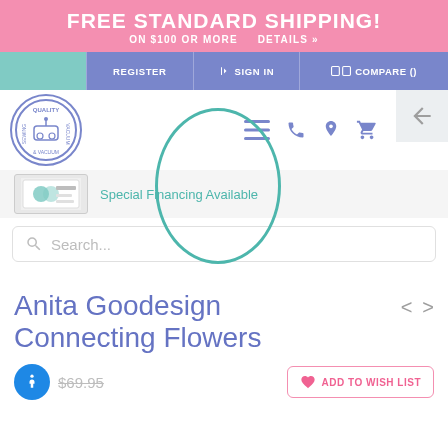FREE STANDARD SHIPPING! ON $100 OR MORE   DETAILS »
REGISTER   SIGN IN   COMPARE ()
[Figure (logo): Quality Sewing & Vacuum circular logo with sewing machine illustration]
Special Financing Available
Search...
Anita Goodesign Connecting Flowers
ADD TO WISH LIST
$69.95